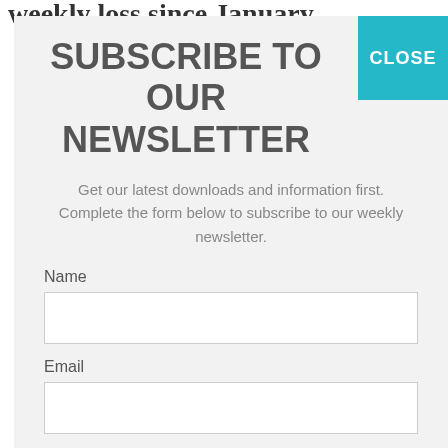weekly loss since January
SUBSCRIBE TO OUR NEWSLETTER
Get our latest downloads and information first. Complete the form below to subscribe to our weekly newsletter.
Name
Email
I consent to being contacted via telephone and/or email and I consent to